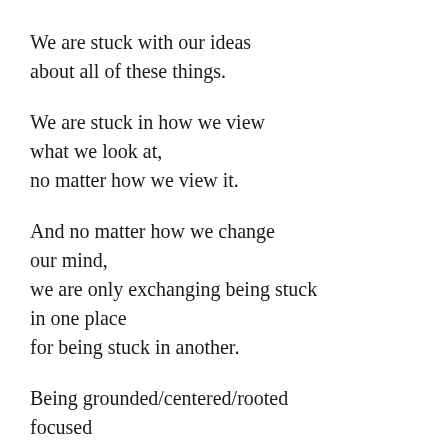We are stuck with our ideas
about all of these things.
We are stuck in how we view
what we look at,
no matter how we view it.
And no matter how we change
our mind,
we are only exchanging being stuck
in one place
for being stuck in another.
Being grounded/centered/rooted
focused